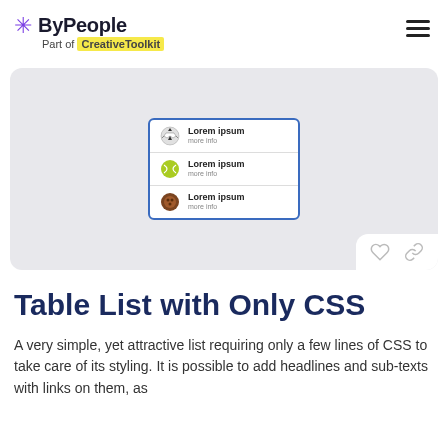ByPeople – Part of CreativeToolkit
[Figure (screenshot): UI preview of a CSS table list with three rows, each containing a sport ball icon, 'Lorem ipsum' heading, and 'more info' subtext. Surrounded by a blue border card on a light grey background. Heart and link icons in bottom-right corner.]
Table List with Only CSS
A very simple, yet attractive list requiring only a few lines of CSS to take care of its styling. It is possible to add headlines and sub-texts with links on them, as